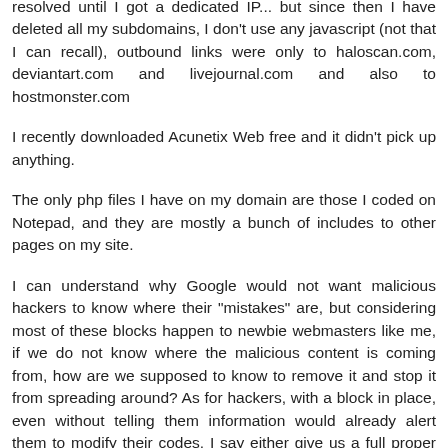resolved until I got a dedicated IP... but since then I have deleted all my subdomains, I don't use any javascript (not that I can recall), outbound links were only to haloscan.com, deviantart.com and livejournal.com and also to hostmonster.com
I recently downloaded Acunetix Web free and it didn't pick up anything.
The only php files I have on my domain are those I coded on Notepad, and they are mostly a bunch of includes to other pages on my site.
I can understand why Google would not want malicious hackers to know where their "mistakes" are, but considering most of these blocks happen to newbie webmasters like me, if we do not know where the malicious content is coming from, how are we supposed to know to remove it and stop it from spreading around? As for hackers, with a block in place, even without telling them information would already alert them to modify their codes. I say either give us a full proper block which works on all Firefox browsers without any indication of where the